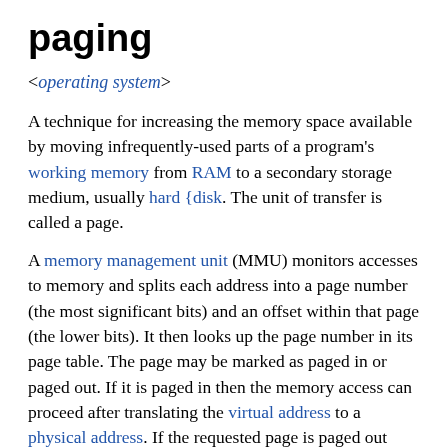paging
< operating system >
A technique for increasing the memory space available by moving infrequently-used parts of a program's working memory from RAM to a secondary storage medium, usually hard {disk. The unit of transfer is called a page.
A memory management unit (MMU) monitors accesses to memory and splits each address into a page number (the most significant bits) and an offset within that page (the lower bits). It then looks up the page number in its page table. The page may be marked as paged in or paged out. If it is paged in then the memory access can proceed after translating the virtual address to a physical address. If the requested page is paged out then space must be made for it by paging out some other page, i.e. copying it on disk. The page can be paged back when needed.